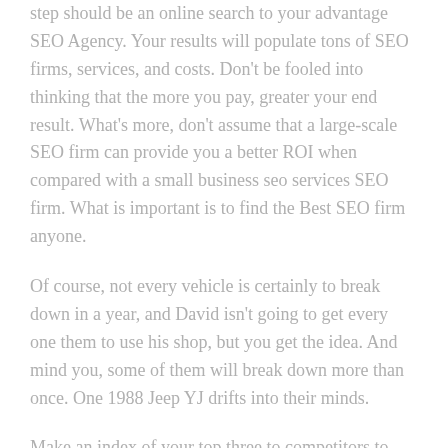step should be an online search to your advantage SEO Agency. Your results will populate tons of SEO firms, services, and costs. Don't be fooled into thinking that the more you pay, greater your end result. What's more, don't assume that a large-scale SEO firm can provide you a better ROI when compared with a small business seo services SEO firm. What is important is to find the Best SEO firm anyone.
Of course, not every vehicle is certainly to break down in a year, and David isn't going to get every one them to use his shop, but you get the idea. And mind you, some of them will break down more than once. One 1988 Jeep YJ drifts into their minds.
Make an index of your top three to competitors to match the keywords and phrases seo marketing services you for you to optimize. Review each their own sites find out more about why and how they are successful. Do they have more pages, more rich media elements such as videos, to be able to understand navigation or more relevant or up-to-date press releases? Step into your customers' shoes. What site do you prefer: yours or